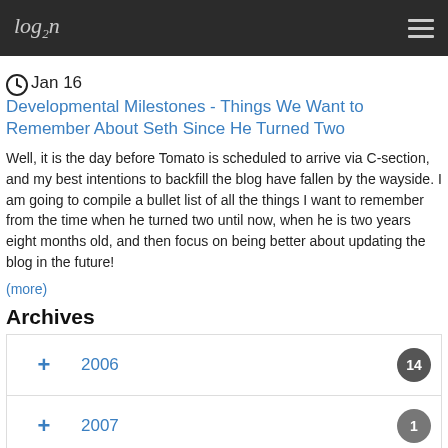log₂n
Jan 16 Developmental Milestones - Things We Want to Remember About Seth Since He Turned Two
Well, it is the day before Tomato is scheduled to arrive via C-section, and my best intentions to backfill the blog have fallen by the wayside. I am going to compile a bullet list of all the things I want to remember from the time when he turned two until now, when he is two years eight months old, and then focus on being better about updating the blog in the future!
(more)
Archives
|  | Year | Count |
| --- | --- | --- |
| ＋ | 2006 | 14 |
| ＋ | 2007 | 1 |